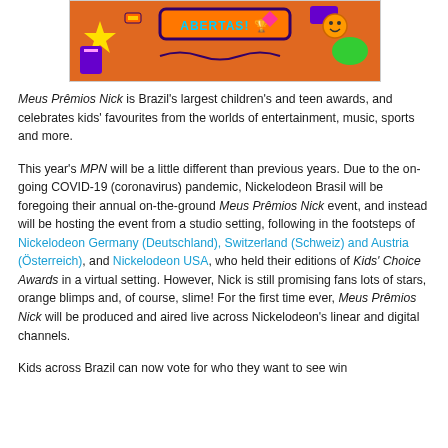[Figure (illustration): Orange Nickelodeon Meus Prêmios Nick banner with colorful cartoon elements and 'ABERTAS!' text in a speech bubble style]
Meus Prêmios Nick is Brazil's largest children's and teen awards, and celebrates kids' favourites from the worlds of entertainment, music, sports and more.
This year's MPN will be a little different than previous years. Due to the on-going COVID-19 (coronavirus) pandemic, Nickelodeon Brasil will be foregoing their annual on-the-ground Meus Prêmios Nick event, and instead will be hosting the event from a studio setting, following in the footsteps of Nickelodeon Germany (Deutschland), Switzerland (Schweiz) and Austria (Österreich), and Nickelodeon USA, who held their editions of Kids' Choice Awards in a virtual setting. However, Nick is still promising fans lots of stars, orange blimps and, of course, slime! For the first time ever, Meus Prêmios Nick will be produced and aired live across Nickelodeon's linear and digital channels.
Kids across Brazil can now vote for who they want to see win